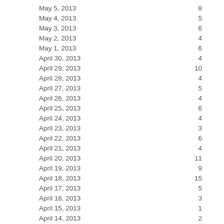| Date | Count |
| --- | --- |
| May 5, 2013 | 8 |
| May 4, 2013 | 5 |
| May 3, 2013 | 6 |
| May 2, 2013 | 4 |
| May 1, 2013 | 6 |
| April 30, 2013 | 4 |
| April 29, 2013 | 10 |
| April 28, 2013 | 4 |
| April 27, 2013 | 5 |
| April 26, 2013 | 4 |
| April 25, 2013 | 6 |
| April 24, 2013 | 4 |
| April 23, 2013 | 3 |
| April 22, 2013 | 6 |
| April 21, 2013 | 4 |
| April 20, 2013 | 11 |
| April 19, 2013 | 9 |
| April 18, 2013 | 15 |
| April 17, 2013 | 5 |
| April 16, 2013 | 3 |
| April 15, 2013 | 1 |
| April 14, 2013 | 2 |
| April 13, 2013 | 3 |